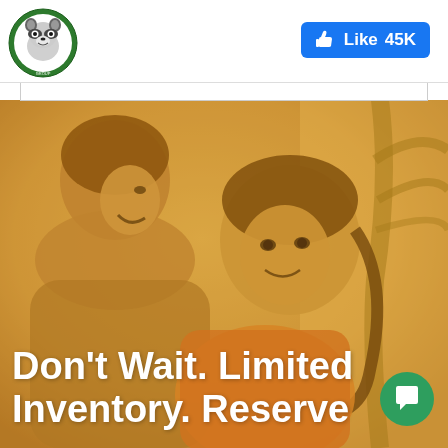[Figure (logo): Circular logo with a cartoon raccoon/animal mascot, green border, text around the edge]
[Figure (other): Blue Facebook-style Like button showing '45K' likes]
[Figure (photo): Photo of a smiling woman and a young girl with a yellow/golden color overlay covering the entire image area]
Don't Wait. Limited Inventory. Reserve
[Figure (other): Green circular chat/message button in bottom right corner]